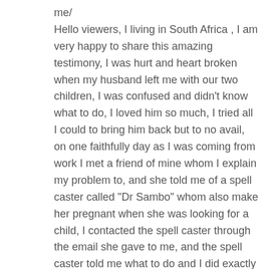me/ Hello viewers, I living in South Africa , I am very happy to share this amazing testimony, I was hurt and heart broken when my husband left me with our two children, I was confused and didn't know what to do, I loved him so much, I tried all I could to bring him back but to no avail, on one faithfully day as I was coming from work I met a friend of mine whom I explain my problem to, and she told me of a spell caster called "Dr Sambo" whom also make her pregnant when she was looking for a child, I contacted the spell caster through the email she gave to me, and the spell caster told me what to do and I did exactly as I was told,  to